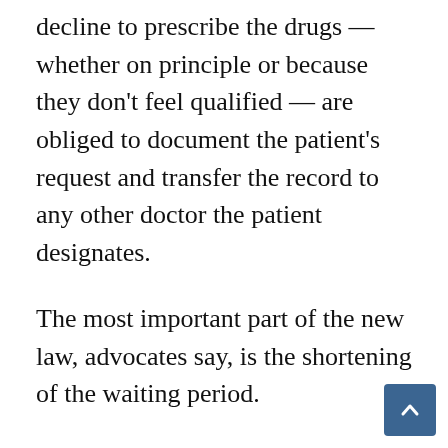decline to prescribe the drugs — whether on principle or because they don't feel qualified — are obliged to document the patient's request and transfer the record to any other doctor the patient designates.
The most important part of the new law, advocates say, is the shortening of the waiting period.
Dr. Chandana Banerjee, an assistant clinical professor specializing in palliative medicine at City of Hope National Medical Center in Duarte, California, says she's seen many pati… who are frightened by the prospect of their…